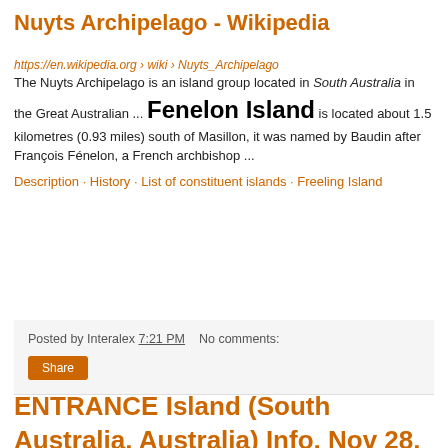Nuyts Archipelago - Wikipedia
https://en.wikipedia.org › wiki › Nuyts_Archipelago
The Nuyts Archipelago is an island group located in South Australia in the Great Australian ... Fenelon Island is located about 1.5 kilometres (0.93 miles) south of Masillon, it was named by Baudin after François Fénelon, a French archbishop ...
Description · History · List of constituent islands · Freeling Island
Posted by Interalex 7:21 PM   No comments:
Share
ENTRANCE Island (South Australia, Australia) Info, Nov 28, 2019